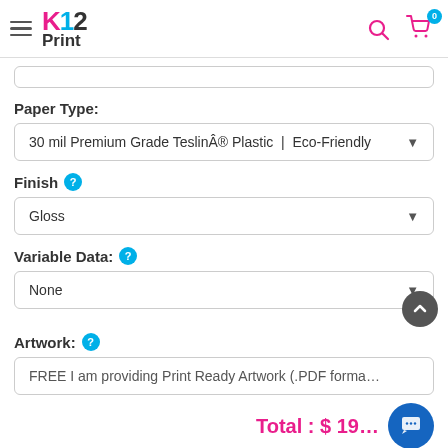K12 Print — navigation header with hamburger menu, logo, search and cart icons
Paper Type:
30 mil Premium Grade Teslin® Plastic  |  Eco-Friendly
Finish
Gloss
Variable Data:
None
Artwork:
FREE I am providing Print Ready Artwork (.PDF forma…
Total : $ 19…